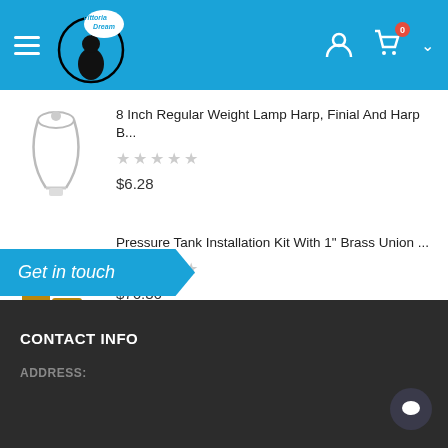Vittoria Dream store header with hamburger menu, logo, user icon, cart (0)
[Figure (screenshot): Product image of 8 Inch Regular Weight Lamp Harp white metal harp]
8 Inch Regular Weight Lamp Harp, Finial And Harp B...
★★★★★ (0 stars)
$6.28
[Figure (photo): Pressure Tank Installation Kit brass fittings and gauges]
Pressure Tank Installation Kit With 1" Brass Union ...
★★★★★ (0 stars)
$76.36
Get in touch
CONTACT INFO
ADDRESS: